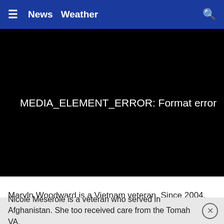≡  News  Weather  🔍
[Figure (screenshot): Black video player area showing MEDIA_ELEMENT_ERROR: Format error]
Maryln Woodward is a Vietnam veteran. Since 2004, he's been receiving care and treatment through the Tomah Veteran Affairs Medical Center.
Nicole Meserole is a veteran who served in Afghanistan. She too received care from the Tomah VA.